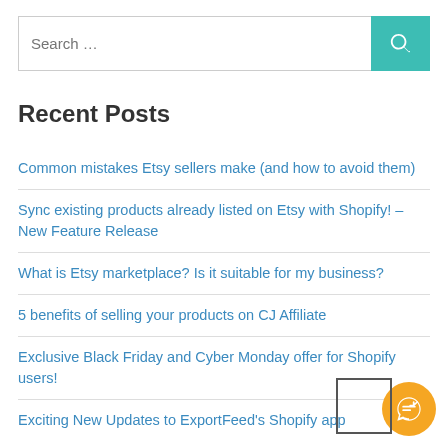[Figure (screenshot): Search bar with teal search button icon]
Recent Posts
Common mistakes Etsy sellers make (and how to avoid them)
Sync existing products already listed on Etsy with Shopify! – New Feature Release
What is Etsy marketplace? Is it suitable for my business?
5 benefits of selling your products on CJ Affiliate
Exclusive Black Friday and Cyber Monday offer for Shopify users!
Exciting New Updates to ExportFeed's Shopify app